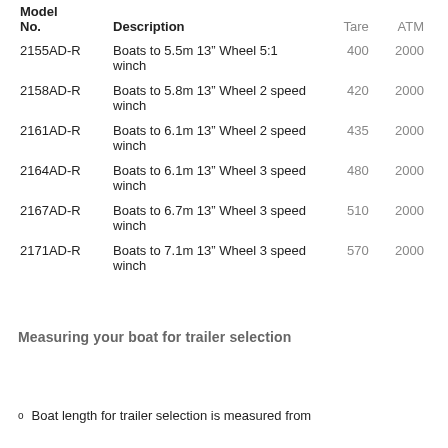| Model No. | Description | Tare | ATM |
| --- | --- | --- | --- |
| 2155AD-R | Boats to 5.5m 13" Wheel 5:1 winch | 400 | 2000 |
| 2158AD-R | Boats to 5.8m 13" Wheel 2 speed winch | 420 | 2000 |
| 2161AD-R | Boats to 6.1m 13" Wheel 2 speed winch | 435 | 2000 |
| 2164AD-R | Boats to 6.1m 13" Wheel 3 speed winch | 480 | 2000 |
| 2167AD-R | Boats to 6.7m 13" Wheel 3 speed winch | 510 | 2000 |
| 2171AD-R | Boats to 7.1m 13" Wheel 3 speed winch | 570 | 2000 |
Measuring your boat for trailer selection
Boat length for trailer selection is measured from